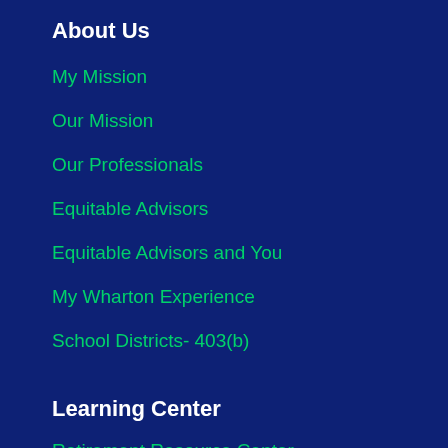About Us
My Mission
Our Mission
Our Professionals
Equitable Advisors
Equitable Advisors and You
My Wharton Experience
School Districts- 403(b)
Learning Center
Retirement Resource Center
Annuity